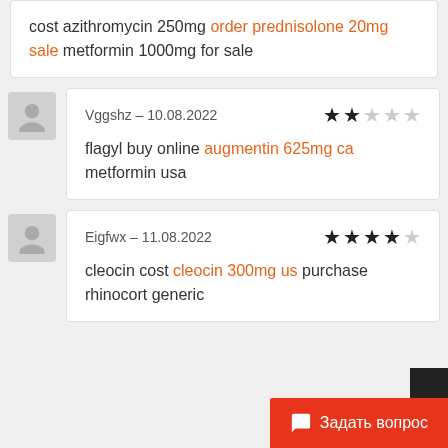cost azithromycin 250mg order prednisolone 20mg sale metformin 1000mg for sale
Vggshz – 10.08.2022 ★★☆☆☆
flagyl buy online augmentin 625mg ca metformin usa
Eigfwx – 11.08.2022 ★★★★☆
cleocin cost cleocin 300mg us purchase rhinocort generic